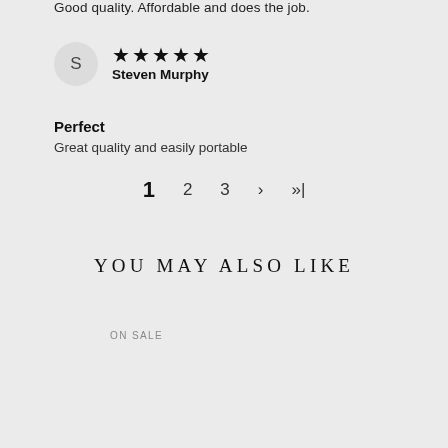Good quality. Affordable and does the job.
S
Steven Murphy
★★★★★
Perfect
Great quality and easily portable
1  2  3  ›  »|
YOU MAY ALSO LIKE
ON SALE